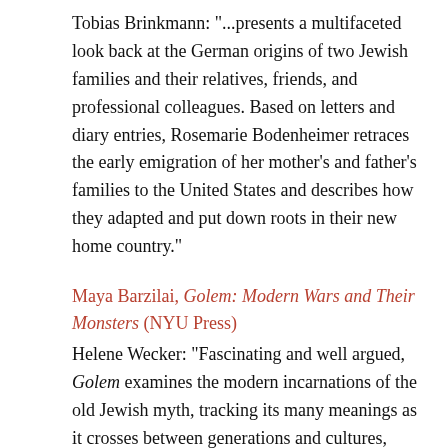Tobias Brinkmann: "...presents a multifaceted look back at the German origins of two Jewish families and their relatives, friends, and professional colleagues. Based on letters and diary entries, Rosemarie Bodenheimer retraces the early emigration of her mother's and father's families to the United States and describes how they adapted and put down roots in their new home country."
Maya Barzilai, Golem: Modern Wars and Their Monsters (NYU Press)
Helene Wecker: "Fascinating and well argued, Golem examines the modern incarnations of the old Jewish myth, tracking its many meanings as it crosses between generations and cultures, from the muddy trenches of WWI to the killing fields of science fiction. An indispensable text for anyone looking to understand our ongoing fascination with the golem figure, in all its malleable forms."